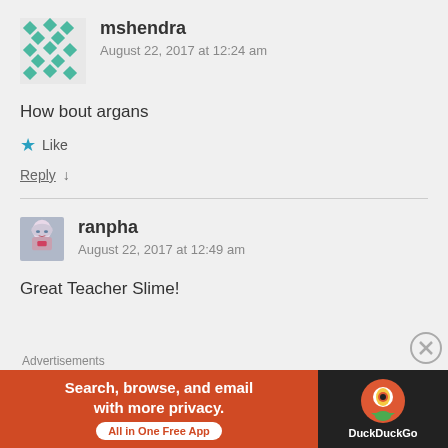[Figure (illustration): Avatar icon for user mshendra - green/teal geometric pattern]
mshendra
August 22, 2017 at 12:24 am
How bout argans
★ Like
Reply ↓
[Figure (illustration): Avatar image for user ranpha - anime style character with silver hair]
ranpha
August 22, 2017 at 12:49 am
Great Teacher Slime!
Advertisements
[Figure (screenshot): DuckDuckGo advertisement banner: Search, browse, and email with more privacy. All in One Free App]